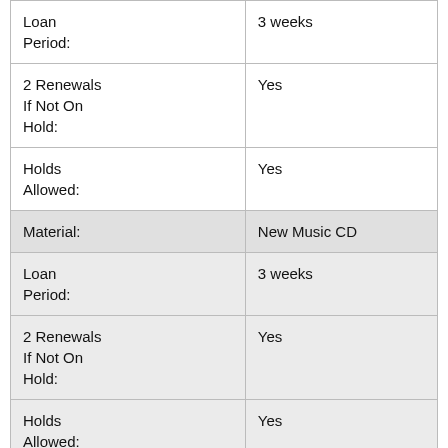| Loan Period: | 3 weeks |
| 2 Renewals
If Not On
Hold: | Yes |
| Holds Allowed: | Yes |
| Material: | New Music CD |
| Loan Period: | 3 weeks |
| 2 Renewals
If Not On
Hold: | Yes |
| Holds Allowed: | Yes |
| Material: | Chromebooks |
| Loan |  |